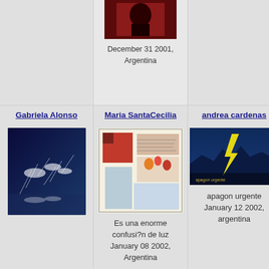[Figure (photo): Red/dark artwork image at top of column 2]
December 31 2001, Argentina
Gabriela Alonso
Maria SantaCecilia
andrea cardenas
Heriberto Lorenzana
[Figure (photo): Blue abstract digital art - Gabriela Alonso]
[Figure (photo): Postcard style digital collage artwork - Maria SantaCecilia]
[Figure (photo): Dark blue with yellow lightning bolt - andrea cardenas]
[Figure (photo): Colorful concentric circles artwork - Heriberto Lorenzana]
Es una enorme confusi?n de luz January 08 2002, Argentina
apagon urgente January 12 2002, argentina
y... nosotros January 1... Argentina